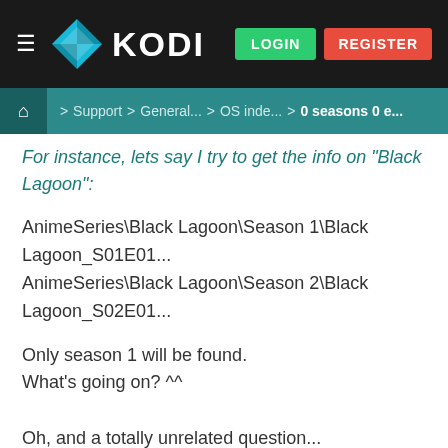[Figure (screenshot): Kodi website navigation bar with hamburger menu, Kodi logo (diamond icon + KODI text), LOGIN (green) and REGISTER (red) buttons]
Home > Support > General... > OS inde... > 0 seasons 0 e...
For instance, lets say I try to get the info on "Black Lagoon":
AnimeSeries\Black Lagoon\Season 1\Black Lagoon_S01E01...
AnimeSeries\Black Lagoon\Season 2\Black Lagoon_S02E01...
Only season 1 will be found.
What's going on? ^^
Oh, and a totally unrelated question...
How come the Movie posters in Library and Files differ?